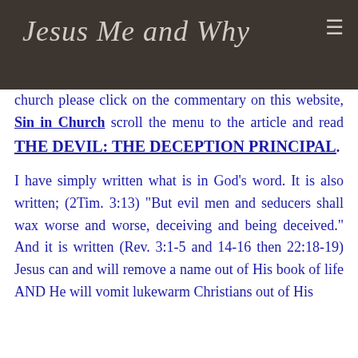Jesus Me and Why
church please click on the commentary on this website, Sin in Church scroll the menu to the article and read THE DEVIL: THE DECEPTION PRINCIPAL. I have simply written what is in God's word. It is also written; (2Tim. 3:13) "But evil men and seducers shall wax worse and worse, deceiving and being deceived." And it is written (Rev. 3:1-5 and 14-16 then 22:18-19) Jesus can and will remove a name out of His book of life AND He will vomit lukewarm Christians out of His